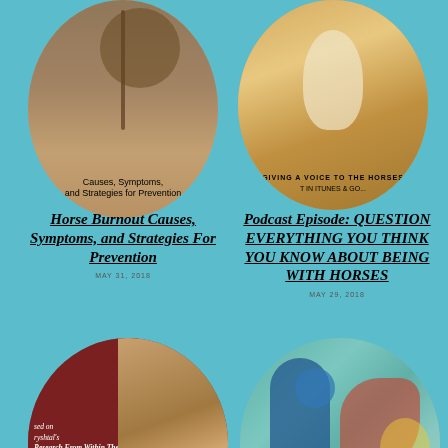[Figure (illustration): Circular thumbnail image of horse burnout book cover with autumn tree background, showing text 'Causes, Symptoms, and Strategies for Prevention']
[Figure (illustration): Circular thumbnail image with golden background showing white horse and person, text 'GIVING A VOICE TO THE HORSES' and 'IN ITUNES & GO...']
Horse Burnout Causes, Symptoms, and Strategies For Prevention
MAY 31, 2018
Podcast Episode: QUESTION EVERYTHING YOU THINK YOU KNOW ABOUT BEING WITH HORSES
MAY 29, 2018
[Figure (illustration): Circular thumbnail showing book cover with dark red left panel text 'based on ryshtal's Research From Within The Equine Therapy Industry' and horse photo on right, orange bottom bar with text 'HORSE']
[Figure (illustration): Circular thumbnail showing colorful artistic illustration with figures in teal/blue/red tones]